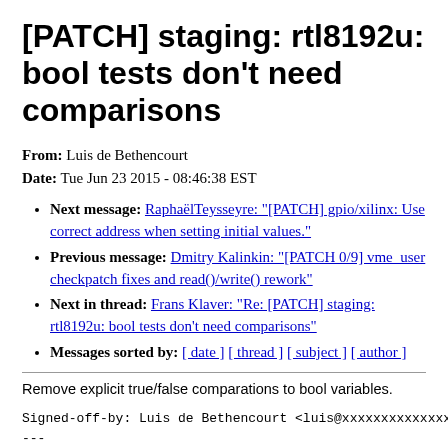[PATCH] staging: rtl8192u: bool tests don't need comparisons
From: Luis de Bethencourt
Date: Tue Jun 23 2015 - 08:46:38 EST
Next message: RaphaëlTeysseyre: "[PATCH] gpio/xilinx: Use correct address when setting initial values."
Previous message: Dmitry Kalinkin: "[PATCH 0/9] vme_user checkpatch fixes and read()/write() rework"
Next in thread: Frans Klaver: "Re: [PATCH] staging: rtl8192u: bool tests don't need comparisons"
Messages sorted by: [ date ] [ thread ] [ subject ] [ author ]
Remove explicit true/false comparations to bool variables.
Signed-off-by: Luis de Bethencourt <luis@xxxxxxxxxxxxxxxx>
---
drivers/staging/rtl8192u/r8192U_core.c | 7 ++++---
drivers/staging/rtl8192u/r8192U_dm.c | 21 ++++++++++-----------